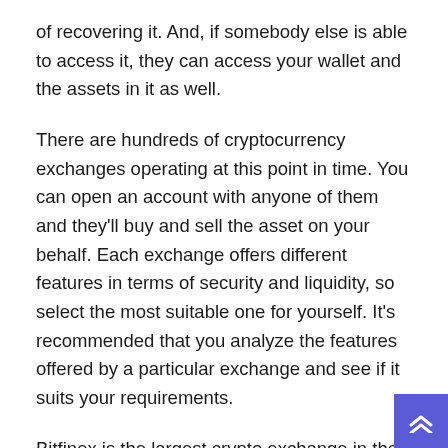of recovering it. And, if somebody else is able to access it, they can access your wallet and the assets in it as well.
There are hundreds of cryptocurrency exchanges operating at this point in time. You can open an account with anyone of them and they'll buy and sell the asset on your behalf. Each exchange offers different features in terms of security and liquidity, so select the most suitable one for yourself. It's recommended that you analyze the features offered by a particular exchange and see if it suits your requirements.
Bitfinex is the largest crypto exchange in the world right now. Massive volumes of trades (in $) are carried out on the platform every day. Coinbase, Binance, Poloniex, and Bitstamp are other large Bitcoin exchanges. If you wish to start with small trades, you can choose any reputable